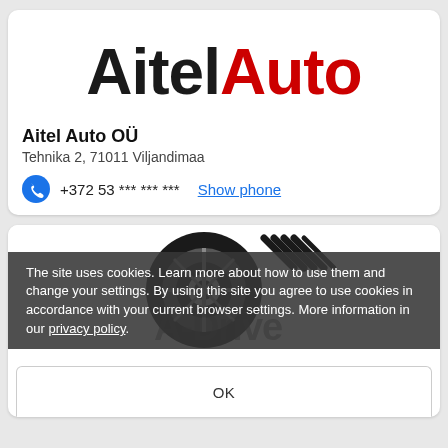[Figure (logo): AitelAuto company logo with 'Aitel' in black and 'Auto' in red bold text]
Aitel Auto OÜ
Tehnika 2, 71011 Viljandimaa
+372 53 *** *** ***  Show phone
[Figure (logo): A-Drive company logo showing a stylized wheel/tire graphic in black and white]
The site uses cookies. Learn more about how to use them and change your settings. By using this site you agree to use cookies in accordance with your current browser settings. More information in our privacy policy.
OK
A-Drive
Ussimäe tee 12/2, Lasnamäe linnaosa, 13816 Tallinn